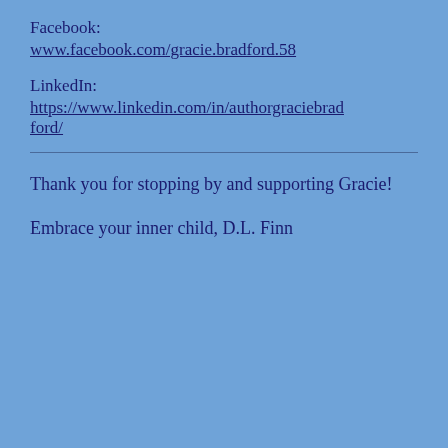Facebook:
www.facebook.com/gracie.bradford.58
LinkedIn:
https://www.linkedin.com/in/authorgraciebradford/
Thank you for stopping by and supporting Gracie!
Embrace your inner child, D.L. Finn